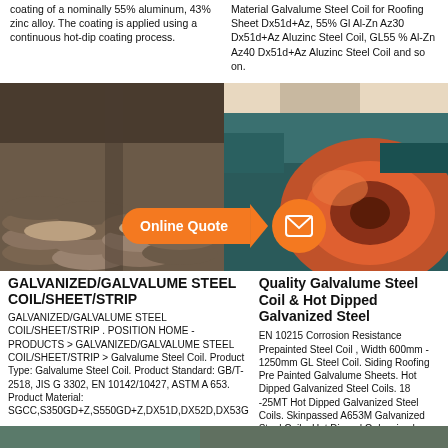coating of a nominally 55% aluminum, 43% zinc alloy. The coating is applied using a continuous hot-dip coating process.
Material Galvalume Steel Coil for Roofing Sheet Dx51d+Az, 55% Gl Al-Zn Az30 Dx51d+Az Aluzinc Steel Coil, GL55 % Al-Zn Az40 Dx51d+Az Aluzinc Steel Coil and so on.
[Figure (photo): Two side-by-side industrial photos: left shows steel rods/bars stacked in a warehouse; right shows an orange painted steel coil on machinery. An 'Online Quote' button overlay with envelope icon appears at the bottom center.]
GALVANIZED/GALVALUME STEEL COIL/SHEET/STRIP
GALVANIZED/GALVALUME STEEL COIL/SHEET/STRIP . POSITION HOME - PRODUCTS > GALVANIZED/GALVALUME STEEL COIL/SHEET/STRIP > Galvalume Steel Coil. Product Type: Galvalume Steel Coil. Product Standard: GB/T-2518, JIS G 3302, EN 10142/10427, ASTM A 653. Product Material: SGCC,S350GD+Z,S550GD+Z,DX51D,DX52D,DX53G
Quality Galvalume Steel Coil & Hot Dipped Galvanized Steel
EN 10215 Corrosion Resistance Prepainted Steel Coil , Width 600mm - 1250mm GL Steel Coil. Siding Roofing Pre Painted Galvalume Sheets. Hot Dipped Galvanized Steel Coils. 18 -25MT Hot Dipped Galvanized Steel Coils. Skinpassed A653M Galvanized Steel Coils. Hot Dipped Galvanised Steel Coils For Roof Panel YS 280 - 350Mpa TS 380 - 450Mpa